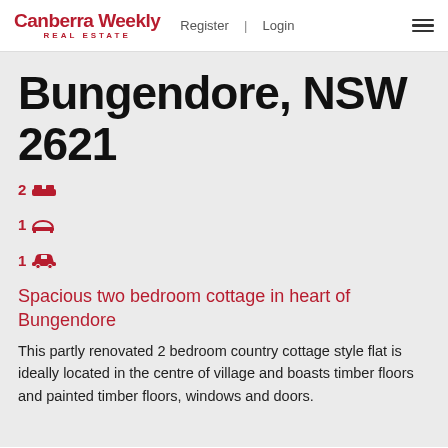Canberra Weekly REAL ESTATE | Register | Login
Bungendore, NSW 2621
2 [bed] 1 [bath] 1 [car]
Spacious two bedroom cottage in heart of Bungendore
This partly renovated 2 bedroom country cottage style flat is ideally located in the centre of village and boasts timber floors and painted timber floors, windows and doors.